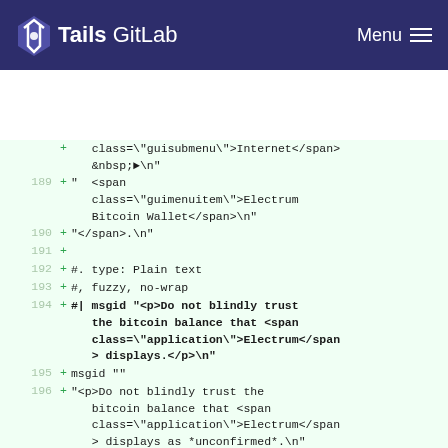Tails GitLab  Menu
class="guisubmenu">Internet</span>&nbsp;►\n"
189 + "  <span class="guimenuitem">Electrum Bitcoin Wallet</span>\n"
190 + "</span>.\n"
191 +
192 + #. type: Plain text
193 + #, fuzzy, no-wrap
194 + #| msgid "<p>Do not blindly trust the bitcoin balance that <span class="application">Electrum</span> displays.</p>\n"
195 + msgid ""
196 + "<p>Do not blindly trust the bitcoin balance that <span class="application">Electrum</span> displays as *unconfirmed*.\n"
197 + "Wait for transactions to be confirmed.</p>\n"